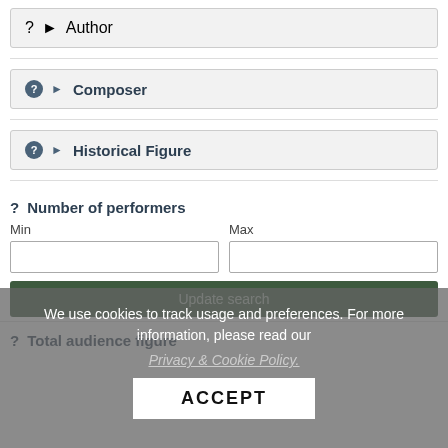Author
Composer
Historical Figure
Number of performers
Min   Max
Update search
Total audience figure
We use cookies to track usage and preferences. For more information, please read our Privacy & Cookie Policy.
ACCEPT